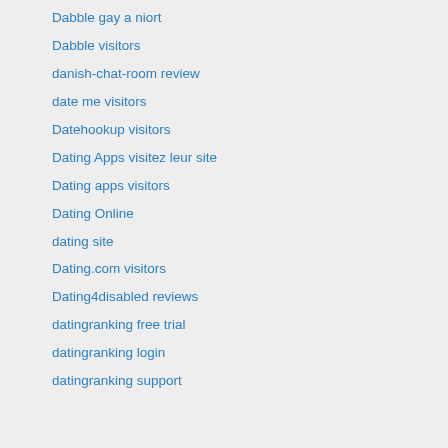Dabble gay a niort
Dabble visitors
danish-chat-room review
date me visitors
Datehookup visitors
Dating Apps visitez leur site
Dating apps visitors
Dating Online
dating site
Dating.com visitors
Dating4disabled reviews
datingranking free trial
datingranking login
datingranking support